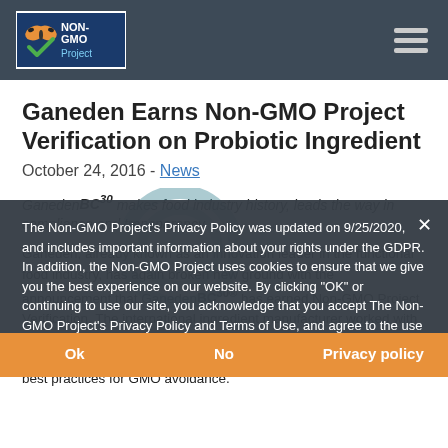Non-GMO Project
Ganeden Earns Non-GMO Project Verification on Probiotic Ingredient
October 24, 2016 - News
GanedenBC30 makes food industry history, leads the way in compliance and transparency
Ganeden, already known as an innovation leader in the functional food industry, has again broken new ground with the announcement that GanedenBC30® has earned Non-GMO Project Verification. The international ingredient manufacturer worked with the Non-GMO Project to put its probiotic strain through rigorous third-party evaluation, confirming that the ingredient follows the best practices for GMO avoidance.
The Non-GMO Project's Privacy Policy was updated on 9/25/2020, and includes important information about your rights under the GDPR. In addition, the Non-GMO Project uses cookies to ensure that we give you the best experience on our website. By clicking "OK" or continuing to use our site, you acknowledge that you accept The Non-GMO Project's Privacy Policy and Terms of Use, and agree to the use of cookies.